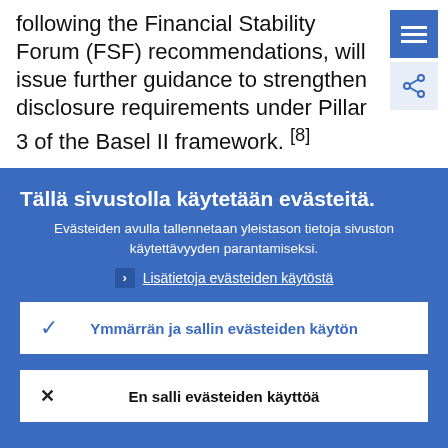Committee on Banking Supervision (BCBS), following the Financial Stability Forum (FSF) recommendations, will issue further guidance to strengthen disclosure requirements under Pillar 3 of the Basel II framework. [8]
Tällä sivustolla käytetään evästeitä.
Evästeiden avulla tallennetaan yleistason tietoja sivuston käytettävyyden parantamiseksi.
Lisätietoja evästeiden käytöstä
Ymmärrän ja sallin evästeiden käytön
En salli evästeiden käyttöä